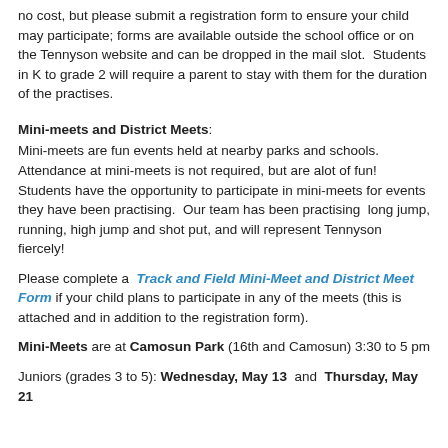no cost, but please submit a registration form to ensure your child may participate; forms are available outside the school office or on the Tennyson website and can be dropped in the mail slot.  Students in K to grade 2 will require a parent to stay with them for the duration of the practises.
Mini-meets and District Meets:
Mini-meets are fun events held at nearby parks and schools. Attendance at mini-meets is not required, but are alot of fun! Students have the opportunity to participate in mini-meets for events they have been practising.  Our team has been practising  long jump, running, high jump and shot put, and will represent Tennyson fiercely!
Please complete a  Track and Field Mini-Meet and District Meet Form if your child plans to participate in any of the meets (this is  attached  and in addition to the registration form).
Mini-Meets are at Camosun Park (16th and Camosun) 3:30 to 5 pm
Juniors (grades 3 to 5): Wednesday, May 13  and  Thursday, May 21